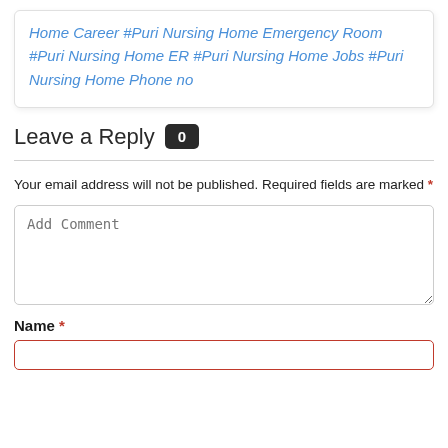Home Career #Puri Nursing Home Emergency Room #Puri Nursing Home ER #Puri Nursing Home Jobs #Puri Nursing Home Phone no
Leave a Reply 0
Your email address will not be published. Required fields are marked *
Add Comment
Name *